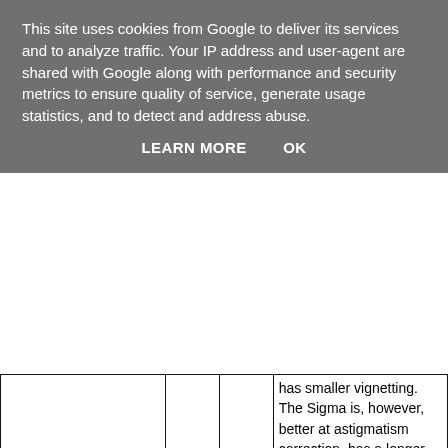This site uses cookies from Google to deliver its services and to analyze traffic. Your IP address and user-agent are shared with Google along with performance and security metrics to ensure quality of service, generate usage statistics, and to detect and address abuse.
LEARN MORE   OK
|  |  |  | has smaller vignetting. The Sigma is, however, better at astigmatism correction, has a longer guarantee period and, of course, a lower price.' |
|  |  |  | 'The Nikon 80-200mm... |